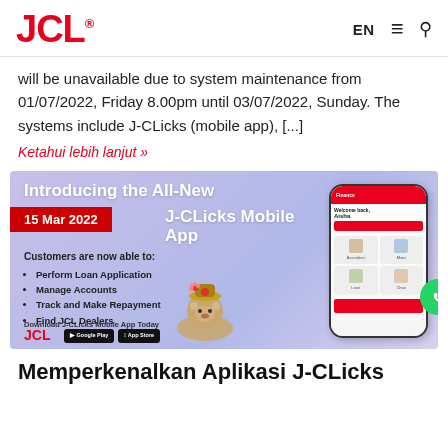JCL | EN
will be unavailable due to system maintenance from 01/07/2022, Friday 8.00pm until 03/07/2022, Sunday. The systems include J-CLicks (mobile app), [...]
Ketahui lebih lanjut »
[Figure (illustration): Promotional banner for the All-New J-CLicks Mobile App dated 15 Mar 2022, showing a phone mockup with the app interface, a bear mascot, and download badges for Google Play and App Store. Text lists customer features: Perform Loan Application, Manage Accounts, Track and Make Repayment, Find JCL Dealers.]
Memperkenalkan Aplikasi J-CLicks